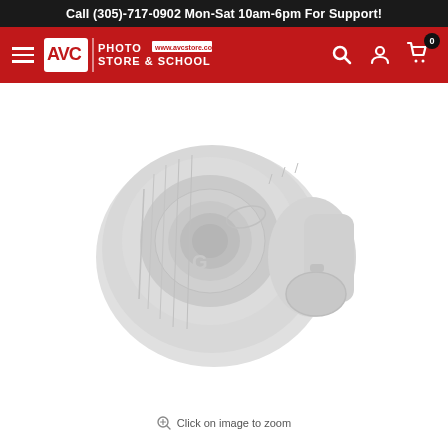Call (305)-717-0902 Mon-Sat 10am-6pm For Support!
[Figure (logo): AVC Photo Store & School logo with hamburger menu, search, account, and cart icons on a red navigation bar]
[Figure (photo): Sony cinema lens (G-series) product photo on white background, shown in light gray tone]
Click on image to zoom